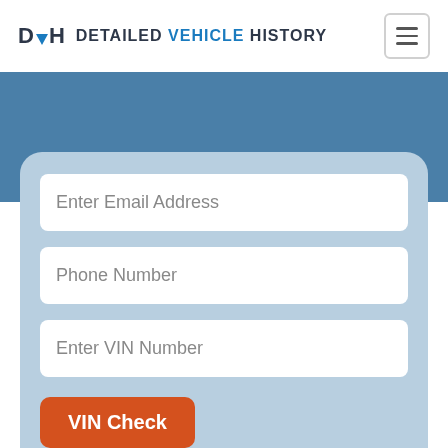DVH DETAILED VEHICLE HISTORY
[Figure (screenshot): Blue banner background section]
Enter Email Address
Phone Number
Enter VIN Number
VIN Check
Search by License Plate